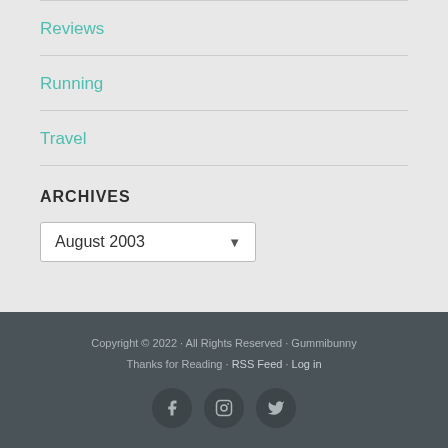Reviews
Running
Travel
ARCHIVES
August 2003
Copyright © 2022 · All Rights Reserved · Gummibunny
Thanks for Reading · RSS Feed · Log in